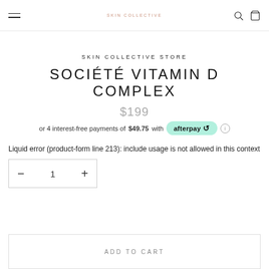SKIN COLLECTIVE
SKIN COLLECTIVE STORE
SOCIÉTÉ VITAMIN D COMPLEX
$199
or 4 interest-free payments of $49.75 with afterpay
Liquid error (product-form line 213): include usage is not allowed in this context
− 1 +
ADD TO CART